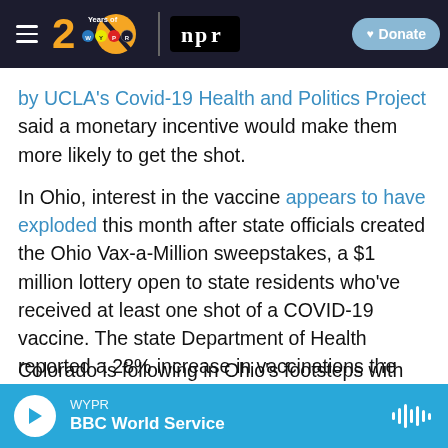WYPR | 20 Years of WYPR | NPR | Donate
by UCLA's Covid-19 Health and Politics Project said a monetary incentive would make them more likely to get the shot.
In Ohio, interest in the vaccine appears to have exploded this month after state officials created the Ohio Vax-a-Million sweepstakes, a $1 million lottery open to state residents who've received at least one shot of a COVID-19 vaccine. The state Department of Health reported a 28% increase in vaccinations the weekend after the drawing was announced.
Colorado is following in Ohio's footsteps with
WYPR — BBC World Service